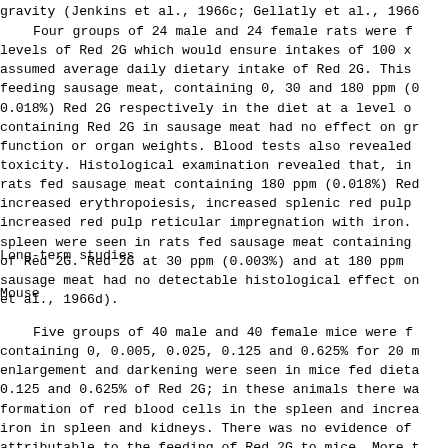gravity (Jenkins et al., 1966c; Gellatly et al., 196...
Four groups of 24 male and 24 female rats were f... levels of Red 2G which would ensure intakes of 100 x... assumed average daily dietary intake of Red 2G. This... feeding sausage meat, containing 0, 30 and 180 ppm (0... 0.018%) Red 2G respectively in the diet at a level o... containing Red 2G in sausage meat had no effect on g... function or organ weights. Blood tests also revealed... toxicity. Histological examination revealed that, in... rats fed sausage meat containing 180 ppm (0.018%) Re... increased erythropoiesis, increased splenic red pulp... increased red pulp reticular impregnation with iron.... spleen were seen in rats fed sausage meat containing... of Red 2G. Red 2G at 30 ppm (0.003%) and at 180 ppm... sausage meat had no detectable histological effect o... et al., 1966d).
Long-term studies
Mouse
Five groups of 40 male and 40 female mice were f... containing 0, 0.005, 0.025, 0.125 and 0.625% for 20... enlargement and darkening were seen in mice fed dieta... 0.125 and 0.625% of Red 2G; in these animals there w... formation of red blood cells in the spleen and increa... iron in spleen and kidneys. There was no evidence of... attributable to the feeding of Red 2G to mice. More t... quarters of the animals in each group survived for tw...